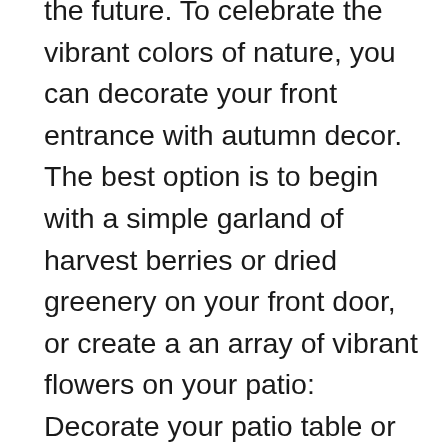the future. To celebrate the vibrant colors of nature, you can decorate your front entrance with autumn decor. The best option is to begin with a simple garland of harvest berries or dried greenery on your front door, or create a an array of vibrant flowers on your patio: Decorate your patio table or steps with magenta mums, green and white decorative cabbage planters, and pumpkins in every hue. Find a focal point prior to you start to go crazy with the remodeling of your inside your house, you should choose one focal point to create the moment to be awe-inspiring inside your home. Make sure you choose an area that can accommodate visitors and permit family or friends to come together by the fire. When you've decided on the ideal spot, create an amazing fall scene.